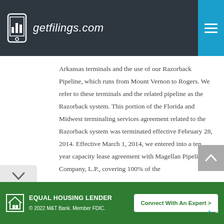getfilings.com
Arkansas terminals and the use of our Razorback Pipeline, which runs from Mount Vernon to Rogers. We refer to these terminals and the related pipeline as the Razorback system. This portion of the Florida and Midwest terminaling services agreement related to the Razorback system was terminated effective February 28, 2014. Effective March 1, 2014, we entered into a ten year capacity lease agreement with Magellan Pipeline Company, L.P., covering 100% of the
[Figure (screenshot): Advertisement banner for M&T Bank Equal Housing Lender with Connect With An Expert CTA button]
EQUAL HOUSING LENDER © 2022 M&T Bank. Member FDIC. | Connect With An Expert >